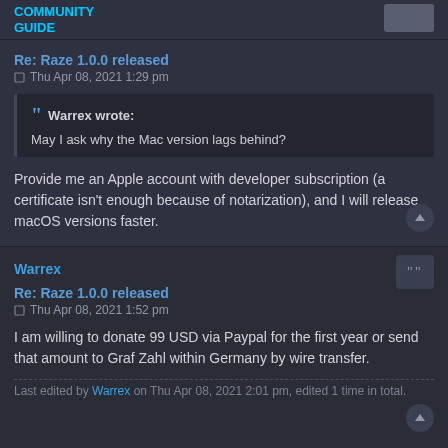COMMUNITY GUIDE
Re: Raze 1.0.0 released
Thu Apr 08, 2021 1:29 pm
Warrex wrote:
May I ask why the Mac version lags behind?
Provide me an Apple account with developer subscription (a certificate isn't enough because of notarization), and I will release macOS versions faster.
Warrex
Re: Raze 1.0.0 released
Thu Apr 08, 2021 1:52 pm
I am willing to donate 99 USD via Paypal for the first year or send that amount to Graf Zahl within Germany by wire transfer.
Last edited by Warrex on Thu Apr 08, 2021 2:01 pm, edited 1 time in total.